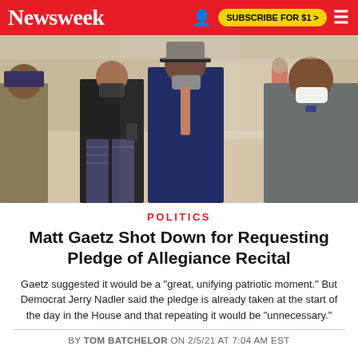Newsweek | SUBSCRIBE FOR $1 >
[Figure (photo): People walking through a government building hallway wearing masks, including a woman in patterned pants and a man in a dark suit and another in a gray blazer.]
POLITICS
Matt Gaetz Shot Down for Requesting Pledge of Allegiance Recital
Gaetz suggested it would be a "great, unifying patriotic moment." But Democrat Jerry Nadler said the pledge is already taken at the start of the day in the House and that repeating it would be "unnecessary."
BY TOM BATCHELOR ON 2/5/21 AT 7:04 AM EST